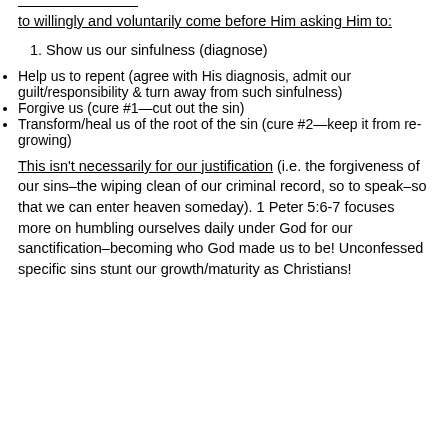to willingly and voluntarily come before Him asking Him to:
Show us our sinfulness (diagnose)
Help us to repent (agree with His diagnosis, admit our guilt/responsibility & turn away from such sinfulness)
Forgive us (cure #1—cut out the sin)
Transform/heal us of the root of the sin (cure #2—keep it from re-growing)
This isn't necessarily for our justification (i.e. the forgiveness of our sins–the wiping clean of our criminal record, so to speak–so that we can enter heaven someday). 1 Peter 5:6-7 focuses more on humbling ourselves daily under God for our sanctification–becoming who God made us to be! Unconfessed specific sins stunt our growth/maturity as Christians!